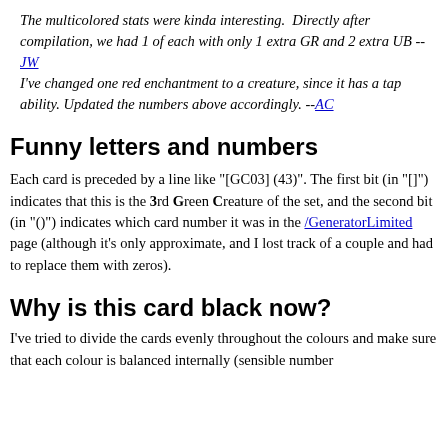The multicolored stats were kinda interesting.  Directly after compilation, we had 1 of each with only 1 extra GR and 2 extra UB --JW
I've changed one red enchantment to a creature, since it has a tap ability. Updated the numbers above accordingly. --AC
Funny letters and numbers
Each card is preceded by a line like "[GC03] (43)". The first bit (in "[]") indicates that this is the 3rd Green Creature of the set, and the second bit (in "()") indicates which card number it was in the /GeneratorLimited page (although it's only approximate, and I lost track of a couple and had to replace them with zeros).
Why is this card black now?
I've tried to divide the cards evenly throughout the colours and make sure that each colour is balanced internally (sensible number